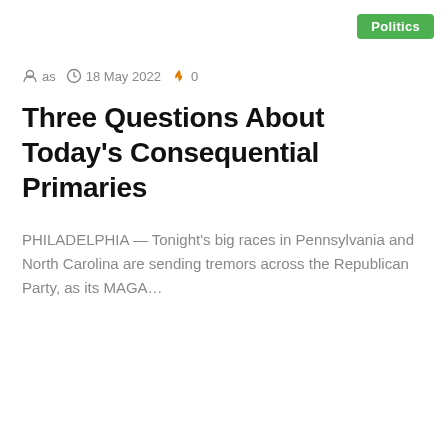Politics
as  18 May 2022  0
Three Questions About Today's Consequential Primaries
PHILADELPHIA — Tonight's big races in Pennsylvania and North Carolina are sending tremors across the Republican Party, as its MAGA…
Read More »